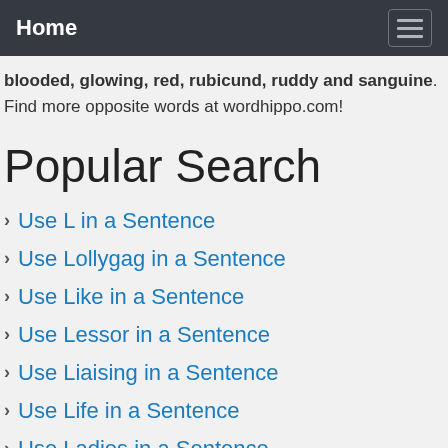Home
blooded, glowing, red, rubicund, ruddy and sanguine. Find more opposite words at wordhippo.com!
Popular Search
Use L in a Sentence
Use Lollygag in a Sentence
Use Like in a Sentence
Use Lessor in a Sentence
Use Liaising in a Sentence
Use Life in a Sentence
Use Ladies in a Sentence
Use Legal in a Sentence